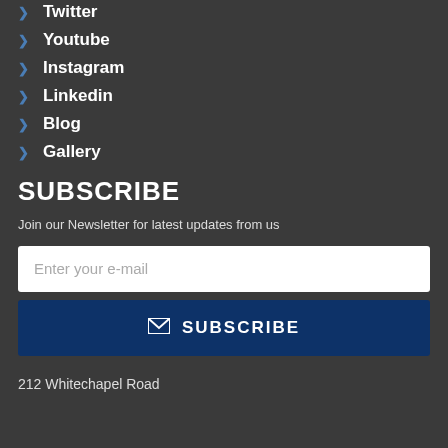Twitter
Youtube
Instagram
Linkedin
Blog
Gallery
SUBSCRIBE
Join our Newsletter for latest updates from us
Enter your e-mail
SUBSCRIBE
212 Whitechapel Road